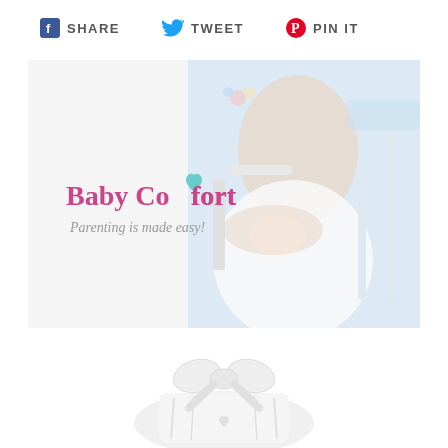SHARE  TWEET  PIN IT
[Figure (photo): Baby Comfort brand banner showing a mother holding a newborn baby in a bright white nursery room with a crib in the background. Text overlay reads 'Baby Comfort' and tagline 'Parenting is made easy!']
[Figure (photo): Close-up product photo of a white fabric item with a bow/ribbon detail and a small heart emblem, shown against a white background.]